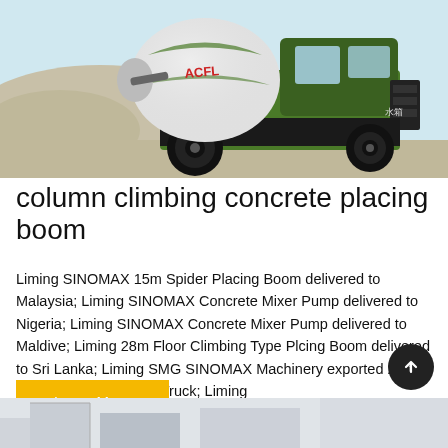[Figure (photo): Green and black concrete mixer truck (self-loading concrete mixer) on a construction site with aggregate piles in the background. The truck has a large white drum with green stripes and Chinese characters '水箱' visible on the side.]
column climbing concrete placing boom
Liming SINOMAX 15m Spider Placing Boom delivered to Malaysia; Liming SINOMAX Concrete Mixer Pump delivered to Nigeria; Liming SINOMAX Concrete Mixer Pump delivered to Maldive; Liming 28m Floor Climbing Type Plcing Boom delivered to Sri Lanka; Liming SMG SINOMAX Machinery exported 25m Small Concrete Pump Truck; Liming
[Figure (other): Learn More button (yellow/gold background with white text)]
[Figure (photo): Partial view of a building/structure at the bottom of the page.]